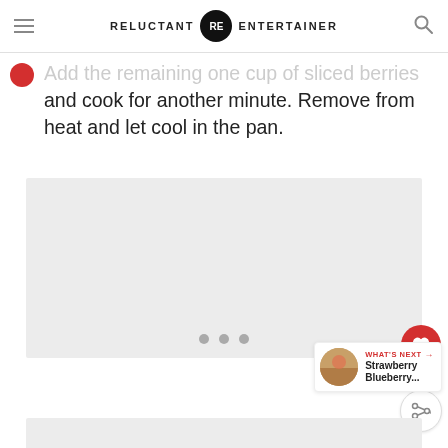RELUCTANT RE ENTERTAINER
Add the remaining one cup of sliced berries and cook for another minute. Remove from heat and let cool in the pan.
[Figure (photo): Image carousel placeholder with three navigation dots, showing a light gray photo area]
WHAT'S NEXT → Strawberry Blueberry...